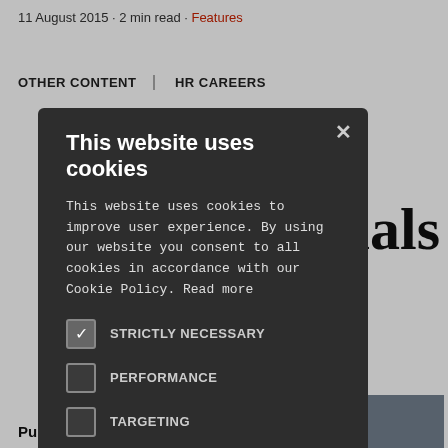11 August 2015 · 2 min read · Features
OTHER CONTENT   HR CAREERS
nals
[Figure (photo): Group photo of people in formal attire standing together indoors]
This website uses cookies
This website uses cookies to improve user experience. By using our website you consent to all cookies in accordance with our Cookie Policy. Read more
STRICTLY NECESSARY (checked)
PERFORMANCE
TARGETING
FUNCTIONALITY
UNCLASSIFIED
ACCEPT ALL   DECLINE ALL
SHOW DETAILS
Published: 11 Aug 2015